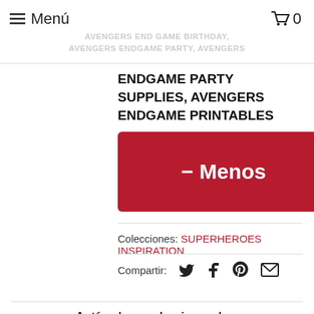≡ Menú | 🛒 0
AVENGERS END GAME BIRTHDAY, AVENGERS ENDGAME PARTY, AVENGERS
ENDGAME PARTY SUPPLIES, AVENGERS ENDGAME PRINTABLES
- Menos
Colecciones: SUPERHEROES INSPIRATION
Compartir:
Artículos relacionados